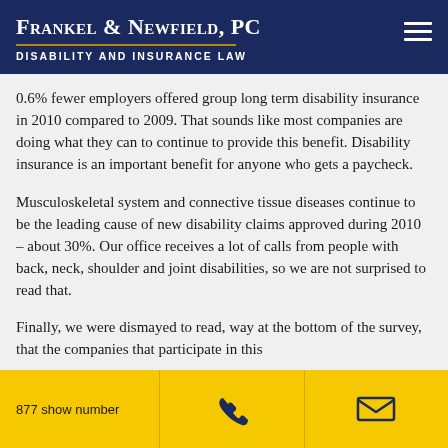Frankel & Newfield, PC — Disability and Insurance Law
0.6% fewer employers offered group long term disability insurance in 2010 compared to 2009. That sounds like most companies are doing what they can to continue to provide this benefit. Disability insurance is an important benefit for anyone who gets a paycheck.
Musculoskeletal system and connective tissue diseases continue to be the leading cause of new disability claims approved during 2010 – about 30%. Our office receives a lot of calls from people with back, neck, shoulder and joint disabilities, so we are not surprised to read that.
Finally, we were dismayed to read, way at the bottom of the survey, that the companies that participate in this
877 show number